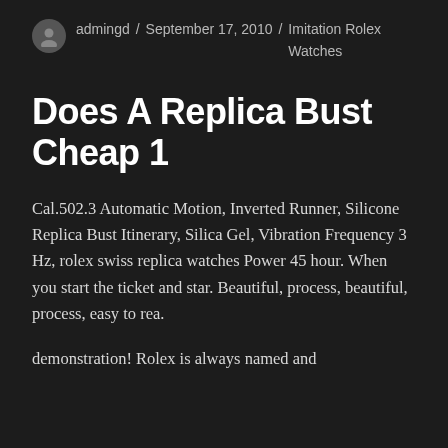admingd / September 17, 2010 / Imitation Rolex Watches
Does A Replica Bust Cheap 1
Cal.502.3 Automatic Motion, Inverted Runner, Silicone Replica Bust Itinerary, Silica Gel, Vibration Frequency 3 Hz, rolex swiss replica watches Power 45 hour. When you start the ticket and star. Beautiful, process, beautiful, process, easy to rea.
demonstration! Rolex is always named and